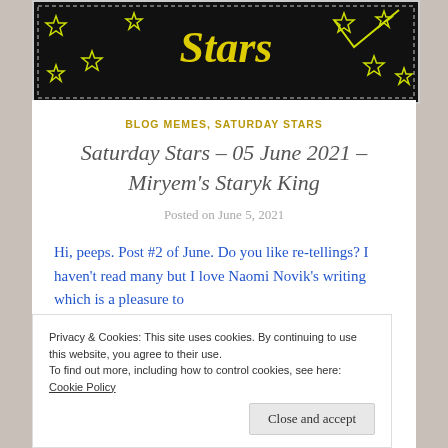[Figure (illustration): Saturday Stars blog banner with yellow text on black background with star decorations and dashed border]
BLOG MEMES, SATURDAY STARS
Saturday Stars - 05 June 2021 - Miryem's Staryk King
Posted on June 5, 2021
Hi, peeps. Post #2 of June. Do you like re-tellings? I haven't read many but I love Naomi Novik's writing which is a pleasure to
Privacy & Cookies: This site uses cookies. By continuing to use this website, you agree to their use.
To find out more, including how to control cookies, see here: Cookie Policy
Close and accept